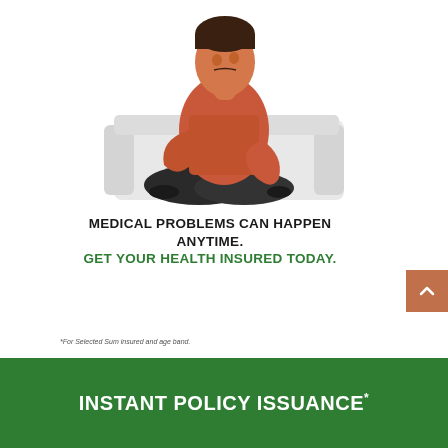[Figure (illustration): Man in orange/red shirt sitting cross-legged on a grey couch, holding his lower back in pain, against a white background.]
MEDICAL PROBLEMS CAN HAPPEN ANYTIME. GET YOUR HEALTH INSURED TODAY.
*For Selected Sum insured and age band.
INSTANT POLICY ISSUANCE*